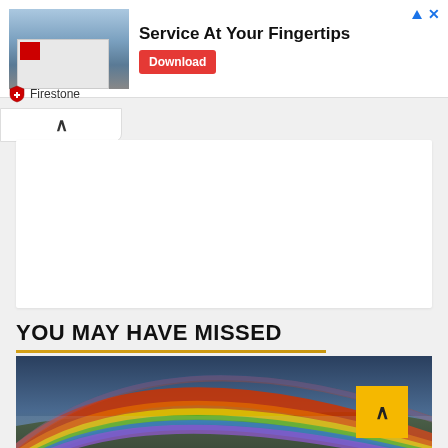[Figure (screenshot): Firestone store advertisement banner with building photo, 'Service At Your Fingertips' headline, red Download button, and Firestone shield logo]
[Figure (photo): Landscape photo of a large rainbow arching over mountainous terrain under a blue-grey sky]
YOU MAY HAVE MISSED